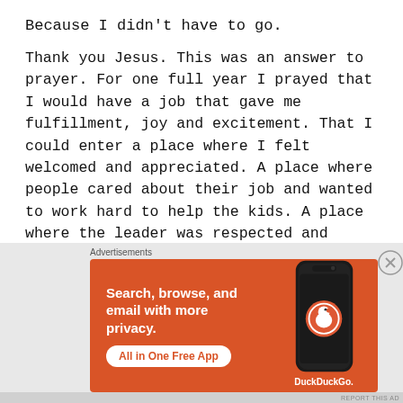Because I didn't have to go.
Thank you Jesus. This was an answer to prayer. For one full year I prayed that I would have a job that gave me fulfillment, joy and excitement. That I could enter a place where I felt welcomed and appreciated. A place where people cared about their job and wanted to work hard to help the kids. A place where the leader was respected and respectful. I found this place and could not be happier.
[Figure (screenshot): DuckDuckGo advertisement banner with orange background showing 'Search, browse, and email with more privacy.' headline, 'All in One Free App' button, and a phone showing the DuckDuckGo app icon.]